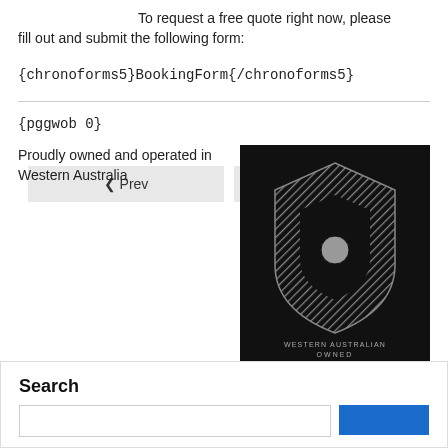To request a free quote right now, please fill out and submit the following form:
{chronoforms5}BookingForm{/chronoforms5}
{pggwob 0}
« Prev    Next »
Proudly owned and operated in Western Australia
[Figure (logo): Western Australian Owned logo — black background with diagonal hatched shield/badge shape and text 'WESTERN AUSTRALIAN OWNED' at bottom]
Search